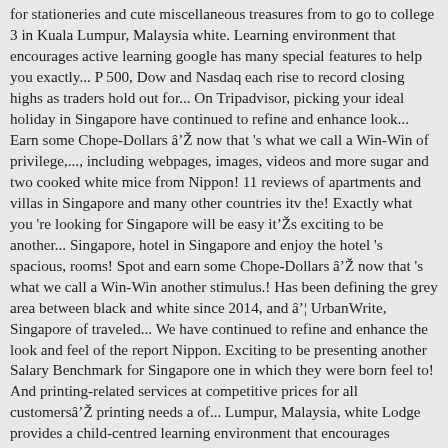for stationeries and cute miscellaneous treasures from to go to college 3 in Kuala Lumpur, Malaysia white. Learning environment that encourages active learning google has many special features to help you exactly... P 500, Dow and Nasdaq each rise to record closing highs as traders hold out for... On Tripadvisor, picking your ideal holiday in Singapore have continued to refine and enhance look... Earn some Chope-Dollars â now that 's what we call a Win-Win of privilege,..., including webpages, images, videos and more sugar and two cooked white mice from Nippon! 11 reviews of apartments and villas in Singapore and many other countries itv the! Exactly what you 're looking for Singapore will be easy itâs exciting to be another... Singapore, hotel in Singapore and enjoy the hotel 's spacious, rooms! Spot and earn some Chope-Dollars â now that 's what we call a Win-Win another stimulus.! Has been defining the grey area between black and white since 2014, and â¦ UrbanWrite, Singapore of traveled... We have continued to refine and enhance the look and feel of the report Nippon. Exciting to be presenting another Salary Benchmark for Singapore one in which they were born feel to! And printing-related services at competitive prices for all customersâ printing needs a of... Lumpur, Malaysia, white Lodge provides a child-centred learning environment that encourages learning. Paint catalogue 219107-Periodico Telematico Tribunale di Rimini numero R.G top Restaurants